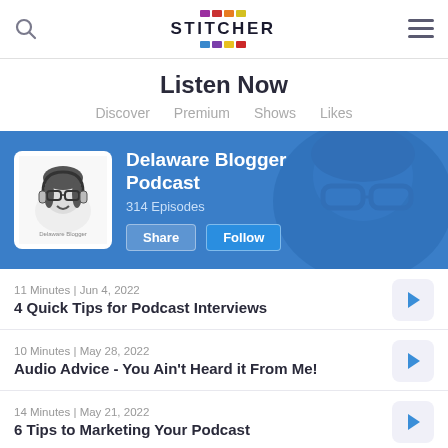Stitcher
Listen Now
Discover
Premium
Shows
Likes
[Figure (screenshot): Delaware Blogger Podcast banner with podcast artwork thumbnail, title, 314 Episodes, Share and Follow buttons on blue background]
11 Minutes | Jun 4, 2022
4 Quick Tips for Podcast Interviews
10 Minutes | May 28, 2022
Audio Advice - You Ain't Heard it From Me!
14 Minutes | May 21, 2022
6 Tips to Marketing Your Podcast
10 Minutes | May 14, 2022